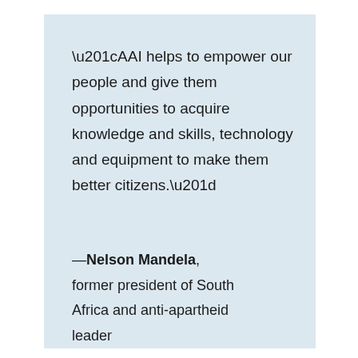“AAI helps to empower our people and give them opportunities to acquire knowledge and skills, technology and equipment to make them better citizens.”
—Nelson Mandela, former president of South Africa and anti-apartheid leader